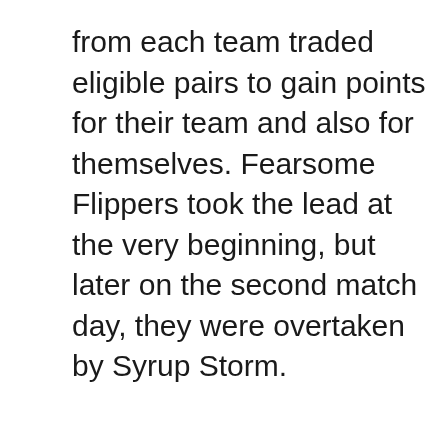from each team traded eligible pairs to gain points for their team and also for themselves. Fearsome Flippers took the lead at the very beginning, but later on the second match day, they were overtaken by Syrup Storm.